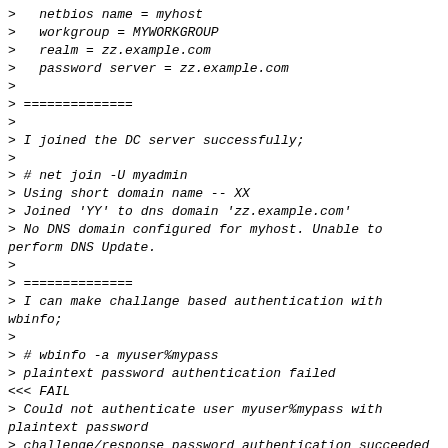>   netbios name = myhost
>   workgroup = MYWORKGROUP
>   realm = zz.example.com
>   password server = zz.example.com
>
> ==============
>
> I joined the DC server successfully;
>
> # net join -U myadmin
> Using short domain name -- XX
> Joined 'YY' to dns domain 'zz.example.com'
> No DNS domain configured for myhost. Unable to perform DNS Update.
>
> ==============
> I can make challange based authentication with wbinfo;
>
> # wbinfo -a myuser%mypass
> plaintext password authentication failed
<<< FAIL
> Could not authenticate user myuser%mypass with plaintext password
> challenge/response password authentication succeeded
> #
>
> ==============
>
> And also with ntlm auth: